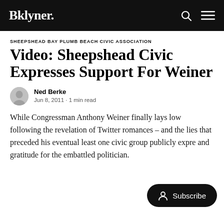Bklyner.
SHEEPSHEAD BAY PLUMB BEACH CIVIC ASSOCIATION
Video: Sheepshead Civic Expresses Support For Weiner
Ned Berke
Jun 8, 2011 · 1 min read
While Congressman Anthony Weiner finally lays low following the revelation of Twitter romances – and the lies that preceded his eventual least one civic group publicly expre and gratitude for the embattled politician.